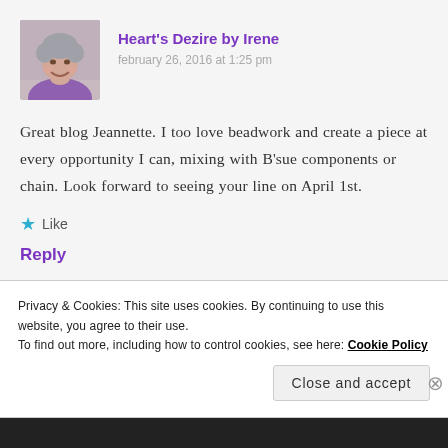[Figure (photo): Avatar photo of a woman with short grey hair, smiling]
Heart's Dezire by Irene
february 26, 2016 at 1:25 pm
Great blog Jeannette. I too love beadwork and create a piece at every opportunity I can, mixing with B'sue components or chain. Look forward to seeing your line on April 1st.
★ Like
Reply
Privacy & Cookies: This site uses cookies. By continuing to use this website, you agree to their use.
To find out more, including how to control cookies, see here: Cookie Policy
Close and accept